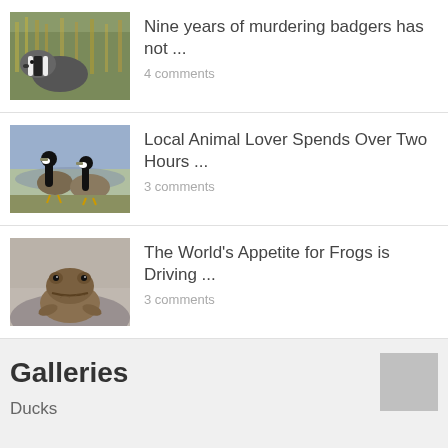[Figure (photo): Badger in grass/reeds, wildlife photo]
Nine years of murdering badgers has not ...
4 comments
[Figure (photo): Two Canada geese standing near water]
Local Animal Lover Spends Over Two Hours ...
3 comments
[Figure (photo): A frog sitting on rock, brown toad, blurred background]
The World's Appetite for Frogs is Driving ...
3 comments
Galleries
[Figure (photo): Small grey/silver thumbnail placeholder image]
Ducks